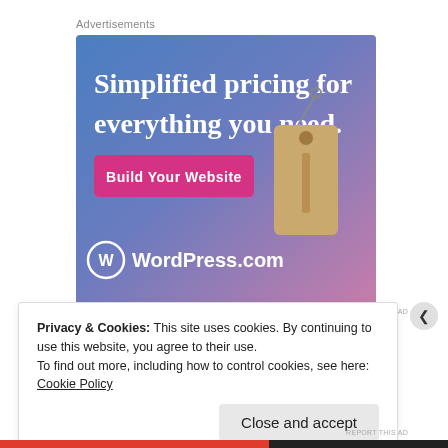Advertisements
[Figure (illustration): WordPress.com advertisement banner with blue-to-purple gradient background, price tag illustration, text 'Simplified pricing for everything you need.' and a pink 'Build Your Website' button, WordPress.com logo at bottom]
REPORT THIS AD
Share this:
Privacy & Cookies: This site uses cookies. By continuing to use this website, you agree to their use.
To find out more, including how to control cookies, see here: Cookie Policy
Close and accept